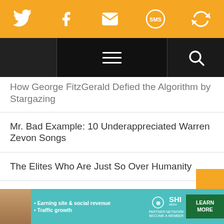Social share bar with Twitter, Facebook, Email, SMS, and RSS icons
Navigation bar with hamburger menu and search icon
How George FitzGerald Defied the Algorithm by Stargazing
Mr. Bad Example: 10 Underappreciated Warren Zevon Songs
The Elites Who Are Just So Over Humanity
Way Up on Rehab Mountain: Warren Zevon's 'Sentimental Hygiene' at 35
[Figure (other): Advertisement banner for SHE Partner Network: Earning site & social revenue, Traffic growth, LEARN MORE button]